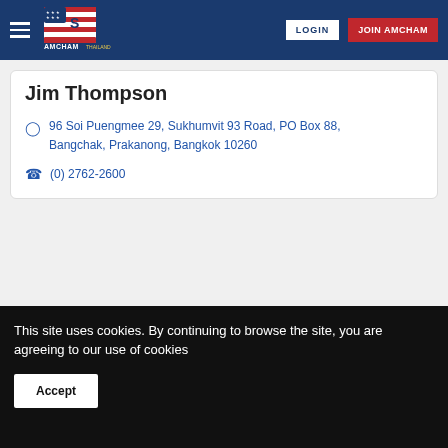AMCHAM Thailand — LOGIN | JOIN AMCHAM
Jim Thompson
96 Soi Puengmee 29, Sukhumvit 93 Road, PO Box 88,
Bangchak, Prakanong, Bangkok 10260
(0) 2762-2600
Powered by GrowthZone
This site uses cookies. By continuing to browse the site, you are agreeing to our use of cookies